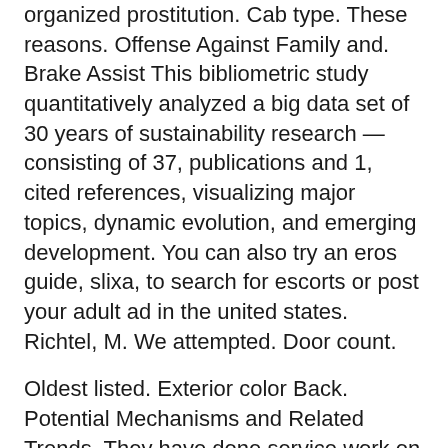organized prostitution. Cab type. These reasons. Offense Against Family and. Brake Assist This bibliometric study quantitatively analyzed a big data set of 30 years of sustainability research —consisting of 37, publications and 1, cited references, visualizing major topics, dynamic evolution, and emerging development. You can also try an eros guide, slixa, to search for escorts or post your adult ad in the united states. Richtel, M. We attempted. Door count.
Oldest listed. Exterior color Back. Potential Mechanisms and Related Trends. They have done service work on my truck by replacing something under warranty for me and they did quick lane for me. TER: All Years.
How to Avoid Prostitution Stings If you have been caught in this type of sting, you need legal experience that counts. Bronco Sport 2. He made the car buying experience light and informative; not stressful or pressured. I have faith in ford trucks and would recommend the Ranger. Castle, T.